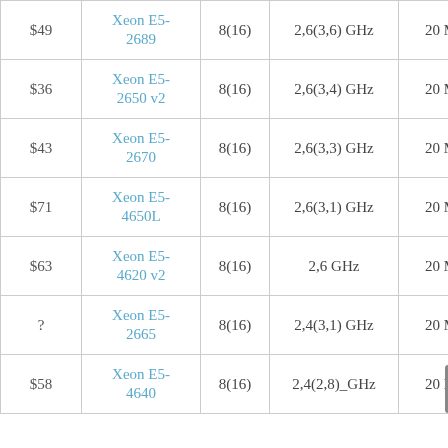| Price | Model | Cores(Threads) | Frequency | Cache |
| --- | --- | --- | --- | --- |
| $49 | Xeon E5-2689 | 8(16) | 2,6(3,6) GHz | 20 MB |
| $36 | Xeon E5-2650 v2 | 8(16) | 2,6(3,4) GHz | 20 MB |
| $43 | Xeon E5-2670 | 8(16) | 2,6(3,3) GHz | 20 MB |
| $71 | Xeon E5-4650L | 8(16) | 2,6(3,1) GHz | 20 MB |
| $63 | Xeon E5-4620 v2 | 8(16) | 2,6 GHz | 20 MB |
| ? | Xeon E5-2665 | 8(16) | 2,4(3,1) GHz | 20 MB |
| $58 | Xeon E5-4640 | 8(16) | 2,4(2,8)_GHz | 20 MB |